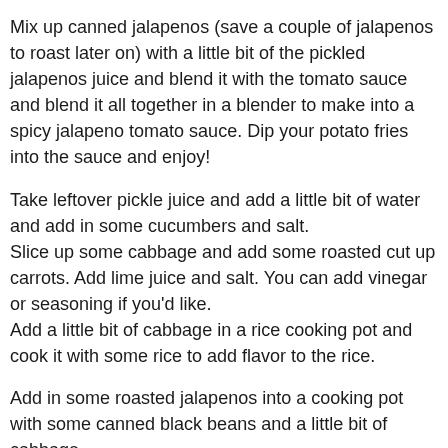Mix up canned jalapenos (save a couple of jalapenos to roast later on) with a little bit of the pickled jalapenos juice and blend it with the tomato sauce and blend it all together in a blender to make into a spicy jalapeno tomato sauce. Dip your potato fries into the sauce and enjoy!
Take leftover pickle juice and add a little bit of water and add in some cucumbers and salt.
Slice up some cabbage and add some roasted cut up carrots. Add lime juice and salt. You can add vinegar or seasoning if you'd like.
Add a little bit of cabbage in a rice cooking pot and cook it with some rice to add flavor to the rice.
Add in some roasted jalapenos into a cooking pot with some canned black beans and a little bit of cabbage.
Grill your tortillas and add in all your ingredients: black beans, ground beef, cabbage, spicy jalapeno tomato sauce and cucumbers with your fries on the side and enjoy!
Bangin' Fried Rice